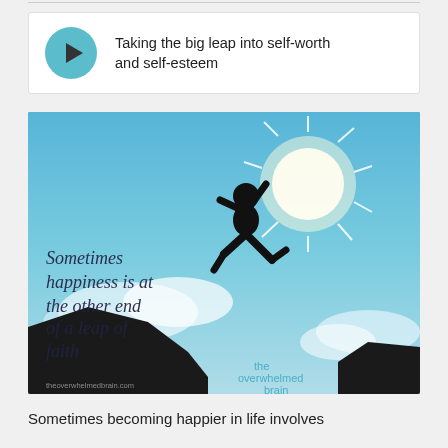[Figure (other): Video player card with teal play button and title: Taking the big leap into self-worth and self-esteem]
[Figure (illustration): Motivational image showing a person silhouetted jumping between two cliffs against a bright sunny blue sky. Text overlay reads: 'Sometimes happiness is at the other end of a leap of faith'. Bottom right shows 'the overwhelmed brain' logo. Bottom left shows 'theoverwhelmedbrain.com'.]
Sometimes becoming happier in life involves